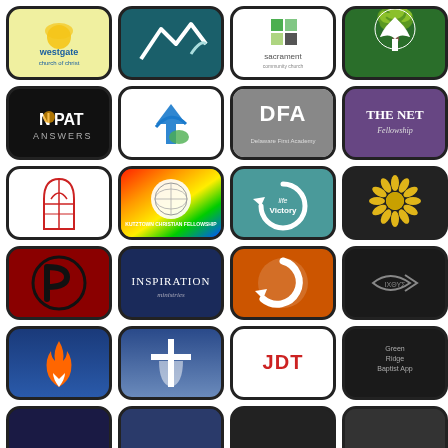[Figure (logo): Grid of 24 mobile app icons for various church and Christian organization apps including Westgate Church of Christ, No Pat Answers, DFA, The Net Fellowship, Victory, Inspiration, JDT, Green Ridge Baptist App, and others]
[Figure (logo): App icon grid row 6 partially visible]